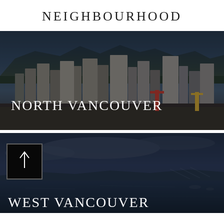NEIGHBOURHOOD
[Figure (photo): Aerial/elevated cityscape photo of North Vancouver showing dense residential and commercial buildings against a forested mountain backdrop, with waterfront/industrial area in the foreground. White text overlay reads 'NORTH VANCOUVER'.]
[Figure (photo): Photo of West Vancouver waterfront with calm dark water reflecting city lights, bridges visible in distance, overcast/cloudy sky. A black square navigation box with an upward arrow is overlaid on the lower left. White text overlay reads 'WEST VANCOUVER'.]